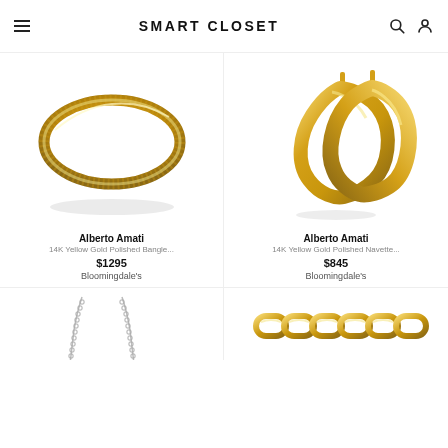SMART CLOSET
[Figure (photo): 14K Yellow Gold Polished Bangle bracelet - oval thin gold bangle on white background]
Alberto Amati
14K Yellow Gold Polished Bangle...
$1295
Bloomingdale's
[Figure (photo): 14K Yellow Gold Polished Navette earrings - gold hoop earrings on white background]
Alberto Amati
14K Yellow Gold Polished Navette...
$845
Bloomingdale's
[Figure (photo): Silver chain necklace - thin box chain on white background, partially visible]
[Figure (photo): Gold chain bracelet/necklace - chunky gold link chain on white background, partially visible]